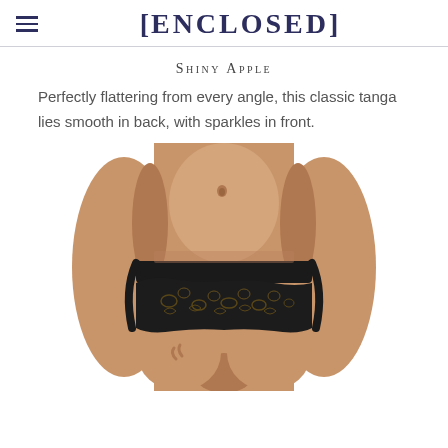[ENCLOSED]
Shiny Apple
Perfectly flattering from every angle, this classic tanga lies smooth in back, with sparkles in front.
[Figure (photo): Product photo of a woman wearing black lace tanga underwear, cropped from waist to thigh, front view on white background.]